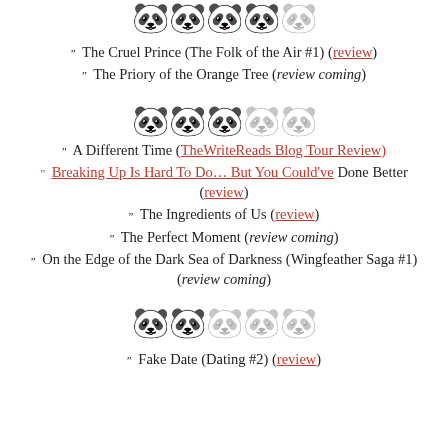[Figure (illustration): Rating shown as 4.5 out of 5 panda emoji faces — 4 full black/white pandas and 1 greyed-out panda at top of page (partially visible)]
The Cruel Prince (The Folk of the Air #1) (review)
The Priory of the Orange Tree (review coming)
[Figure (illustration): Rating shown as 3 out of 5 panda emoji faces — 3 full black/white pandas and 2 greyed-out pandas]
A Different Time (TheWriteReads Blog Tour Review)
Breaking Up Is Hard To Do… But You Could've Done Better (review)
The Ingredients of Us (review)
The Perfect Moment (review coming)
On the Edge of the Dark Sea of Darkness (Wingfeather Saga #1) (review coming)
[Figure (illustration): Rating shown as 2.5 out of 5 panda emoji faces — 2 full black/white pandas and 3 greyed-out pandas]
Fake Date (Dating #2) (review)